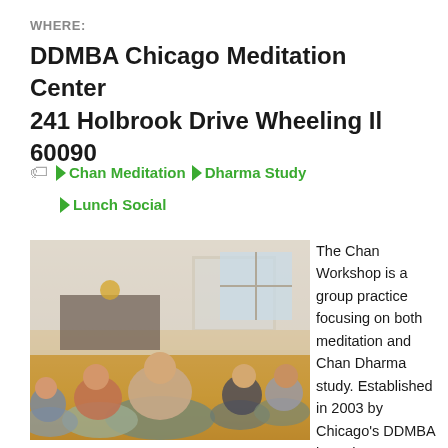WHERE:
DDMBA Chicago Meditation Center 241 Holbrook Drive Wheeling Il 60090
Chan Meditation  Dharma Study  Lunch Social
[Figure (photo): Group of people sitting in meditation posture on a wooden floor in a meditation hall, facing an altar, some wearing light green wraps]
The Chan Workshop is a group practice focusing on both meditation and Chan Dharma study. Established in 2003 by Chicago's DDMBA branch